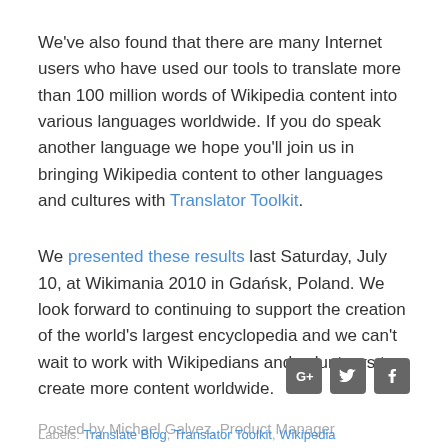We've also found that there are many Internet users who have used our tools to translate more than 100 million words of Wikipedia content into various languages worldwide. If you do speak another language we hope you'll join us in bringing Wikipedia content to other languages and cultures with Translator Toolkit.
We presented these results last Saturday, July 10, at Wikimania 2010 in Gdańsk, Poland. We look forward to continuing to support the creation of the world's largest encyclopedia and we can't wait to work with Wikipedians and volunteers to create more content worldwide.
Posted by Michael Galvez, Product Manager
[Figure (other): Social sharing icons: Google+, Twitter, Facebook]
Labels: Translate Blog, Translator Toolkit, Wikipedia